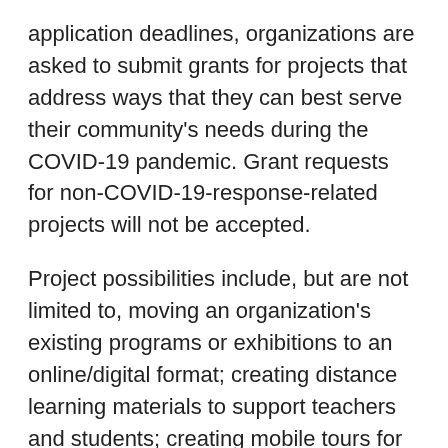application deadlines, organizations are asked to submit grants for projects that address ways that they can best serve their community's needs during the COVID-19 pandemic. Grant requests for non-COVID-19-response-related projects will not be accepted.
Project possibilities include, but are not limited to, moving an organization's existing programs or exhibitions to an online/digital format; creating distance learning materials to support teachers and students; creating mobile tours for inclusion on CT Humanities' ConnTours mobile app; displaying content in places where community members can access it despite social distancing; oral history or collecting projects to document the pandemic; etc.
While the maximum award per grant will remain the